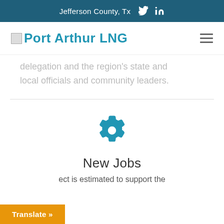Jefferson County, Tx
[Figure (logo): Port Arthur LNG logo with blue text and small image placeholder]
delegation and the region's state and local officials and community leaders.
[Figure (illustration): Blue gear/settings icon]
New Jobs
ect is estimated to support the
Translate »